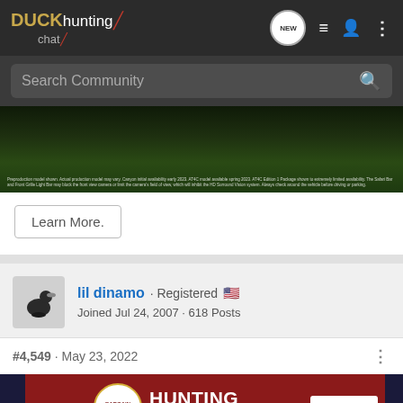Duck hunting chat - navigation bar with NEW, list, user, and more icons
Search Community
[Figure (photo): Dark outdoor/nature photo showing grass and vehicle, with fine print disclaimer at bottom]
Learn More.
lil dinamo · Registered 🇺🇸
Joined Jul 24, 2007 · 618 Posts
#4,549 · May 23, 2022
[Figure (photo): Cabela's Bargain Cave HUNTING CLEARANCE - SHOP NOW advertisement banner]